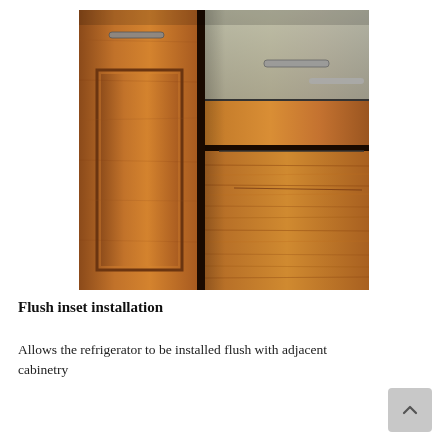[Figure (photo): Close-up photo of warm cherry wood cabinetry with inset panel doors and drawers, showing flush installation with horizontal wood-grain texture]
Flush inset installation
Allows the refrigerator to be installed flush with adjacent cabinetry